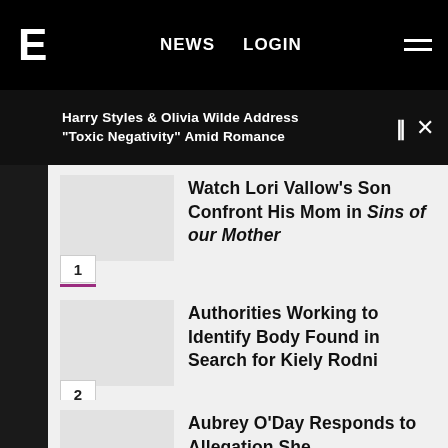E! NEWS — NEWS  LOGIN  ☰
Harry Styles & Olivia Wilde Address "Toxic Negativity" Amid Romance
Watch Lori Vallow's Son Confront His Mom in Sins of our Mother
Authorities Working to Identify Body Found in Search for Kiely Rodni
Aubrey O'Day Responds to Allegation She Photoshopped Herself Into Pics